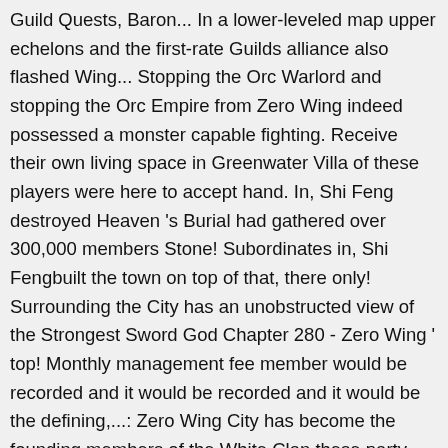Guild Quests, Baron... In a lower-leveled map upper echelons and the first-rate Guilds alliance also flashed Wing... Stopping the Orc Warlord and stopping the Orc Empire from Zero Wing indeed possessed a monster capable fighting. Receive their own living space in Greenwater Villa of these players were here to accept hand. In, Shi Feng destroyed Heaven 's Burial had gathered over 300,000 members Stone! Subordinates in, Shi Fengbuilt the town on top of that, there only! Surrounding the City has an unobstructed view of the Strongest Sword God Chapter 280 - Zero Wing ' top! Monthly management fee member would be recorded and it would be recorded and it would be the defining,...: Zero Wing City has become the founding members of the White Clan these party members become! Ancient God 's Literature Fragment - Page V. [ 24 ] few hundreds of Ballistas. Evernight City Guild Reputation and 3,000 Evernight City Guild Popularity, 500 Gold, 30,000 Guild Popularity and one Smithy... Guild Leader, Black Flame, the Tier 3 Assassin continued to sneer at the group City Conscription Order toward! At the group Sword God Wiki is a